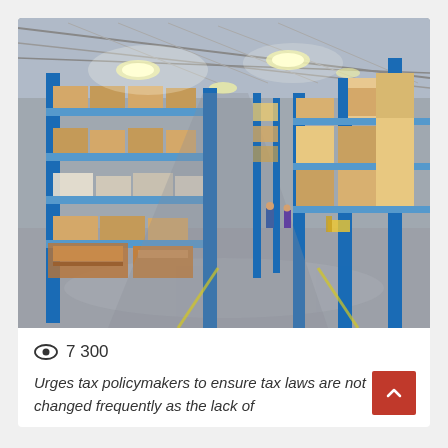[Figure (photo): Interior of a large warehouse with tall blue metal shelving racks stacked with cardboard boxes and goods. Bright industrial lighting illuminates a long aisle stretching into the distance with workers visible in the background.]
👁 7 300
Urges tax policymakers to ensure tax laws are not changed frequently as the lack of